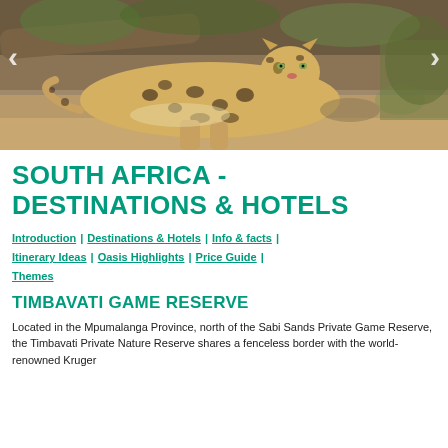[Figure (photo): A leopard resting on sandy ground in a natural habitat, with dry vegetation and logs in the background. Navigation arrows visible on left and right sides of the image.]
SOUTH AFRICA - DESTINATIONS & HOTELS
Introduction | Destinations & Hotels | Info & facts | Itinerary Ideas | Oasis Highlights | Price Guide | Themes
TIMBAVATI GAME RESERVE
Located in the Mpumalanga Province, north of the Sabi Sands Private Game Reserve, the Timbavati Private Nature Reserve shares a fenceless border with the world-renowned Kruger